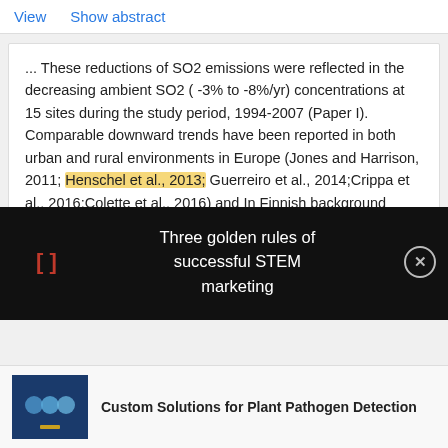View   Show abstract
... These reductions of SO2 emissions were reflected in the decreasing ambient SO2 ( -3% to -8%/yr) concentrations at 15 sites during the study period, 1994-2007 (Paper I). Comparable downward trends have been reported in both urban and rural environments in Europe (Jones and Harrison, 2011; Henschel et al., 2013; Guerreiro et al., 2014;Crippa et al., 2016;Colette et al., 2016) and In Finnish background areas, the SO2 concentration level is around 0.5-1 μg/m 3. Nowadays,
[] Three golden rules of successful STEM marketing
[Figure (screenshot): Thumbnail image for Custom Solutions for Plant Pathogen Detection ad]
Custom Solutions for Plant Pathogen Detection